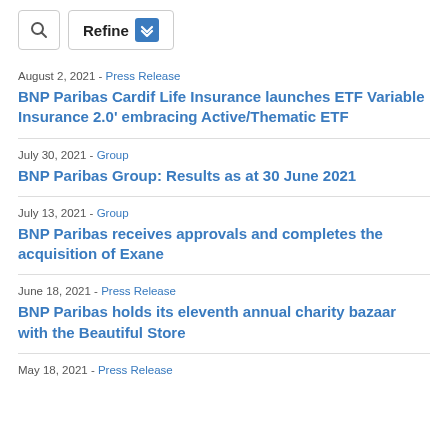[Figure (screenshot): Search icon button and Refine button with dropdown chevron icon]
August 2, 2021 - Press Release
BNP Paribas Cardif Life Insurance launches ETF Variable Insurance 2.0' embracing Active/Thematic ETF
July 30, 2021 - Group
BNP Paribas Group: Results as at 30 June 2021
July 13, 2021 - Group
BNP Paribas receives approvals and completes the acquisition of Exane
June 18, 2021 - Press Release
BNP Paribas holds its eleventh annual charity bazaar with the Beautiful Store
May 18, 2021 - Press Release